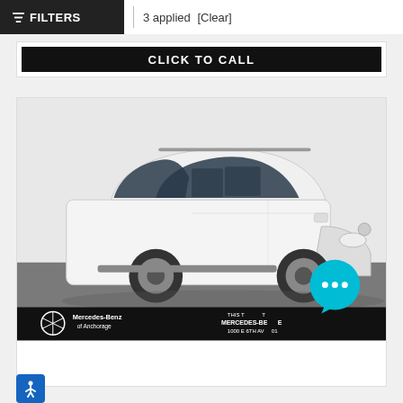FILTERS | 3 applied [Clear]
CLICK TO CALL
[Figure (photo): White Mercedes-Benz GLB SUV photographed at three-quarter front angle on a grey surface. Mercedes-Benz of Anchorage dealer logo and address visible at bottom of image.]